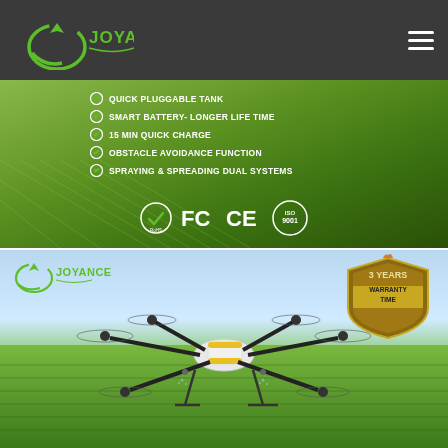[Figure (logo): Joyance logo — green arc with propeller and JOYANCE text in green on dark grey header bar]
[Figure (infographic): Agricultural drone promotional banner showing aerial field photo with feature bullet points: QUICK PLUGGABLE TANK, SMART BATTERY- LONGER LIFE TIME, 15 MIN QUICK CHARGE, OBSTACLE AVOIDANCE FUNCTION, SPRAYING & SPREADING DUAL SYSTEMS. Certification badges: RoHS, FC, CE, ISO 9001.]
[Figure (photo): Joyance agricultural spraying drone over green crop rows with 3 YEARS WARRANTY TIME shield badge, and Joyance logo top left.]